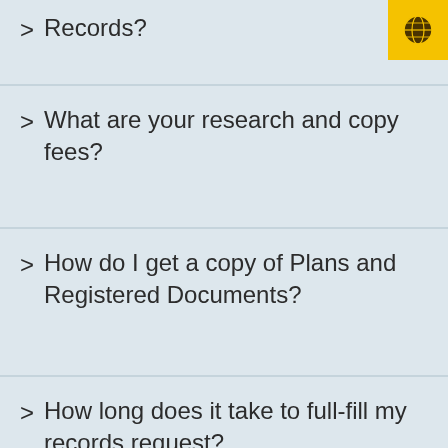Records?
What are your research and copy fees?
How do I get a copy of Plans and Registered Documents?
How long does it take to full-fill my records request?
How do I search for Records